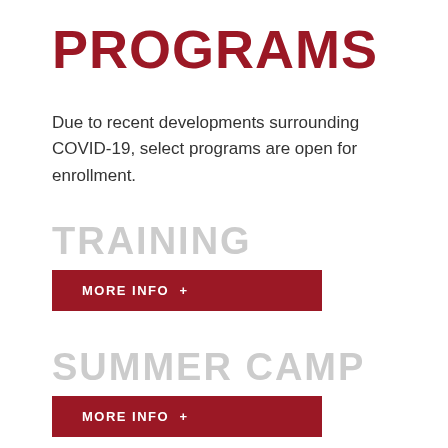PROGRAMS
Due to recent developments surrounding COVID-19, select programs are open for enrollment.
TRAINING
MORE INFO +
SUMMER CAMP
MORE INFO +